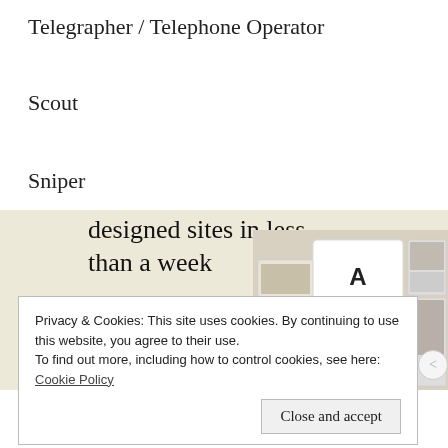Telegrapher / Telephone Operator
Scout
Sniper
[Figure (screenshot): Advertisement banner for a website builder showing text 'designed sites in less than a week' with an 'Explore options' green button and website mockup images on a beige background.]
Privacy & Cookies: This site uses cookies. By continuing to use this website, you agree to their use.
To find out more, including how to control cookies, see here:
Cookie Policy
Close and accept